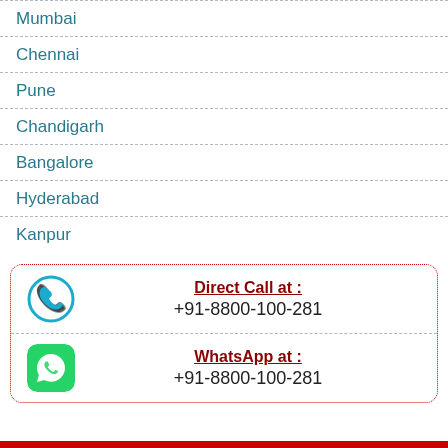Mumbai
Chennai
Pune
Chandigarh
Bangalore
Hyderabad
Kanpur
Direct Call at : +91-8800-100-281
WhatsApp at : +91-8800-100-281